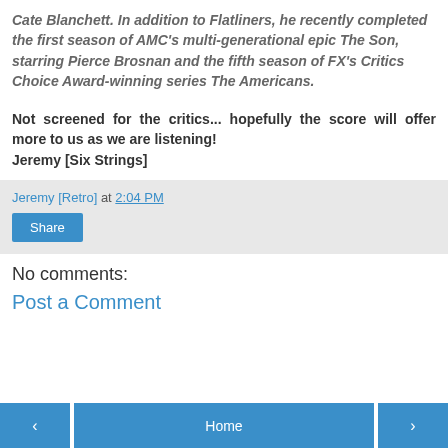Cate Blanchett. In addition to Flatliners, he recently completed the first season of AMC's multi-generational epic The Son, starring Pierce Brosnan and the fifth season of FX's Critics Choice Award-winning series The Americans.
Not screened for the critics... hopefully the score will offer more to us as we are listening!
Jeremy [Six Strings]
Jeremy [Retro] at 2:04 PM
Share
No comments:
Post a Comment
< Home >